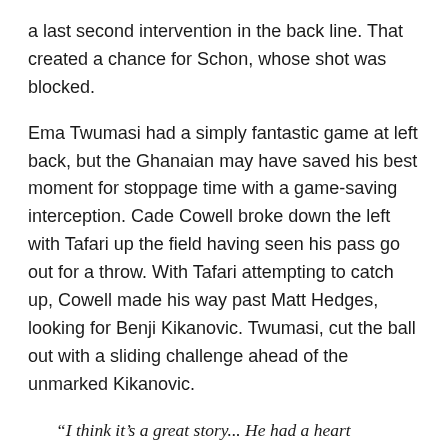a last second intervention in the back line. That created a chance for Schon, whose shot was blocked.
Ema Twumasi had a simply fantastic game at left back, but the Ghanaian may have saved his best moment for stoppage time with a game-saving interception. Cade Cowell broke down the left with Tafari up the field having seen his pass go out for a throw. With Tafari attempting to catch up, Cowell made his way past Matt Hedges, looking for Benji Kikanovic. Twumasi, cut the ball out with a sliding challenge ahead of the unmarked Kikanovic.
“I think it’s a great story... He had a heart condition that kept them out for two months, and not just kept him out of soccer training. He couldn’t even jog. He wasn’t allowed by the doctors to jog for two months. So no mobility. He lost muscle mass. He lost fitness. He lost confidence. He’s been working and working, and it took another two months to get him going. And here he is having a performance like tonight.”